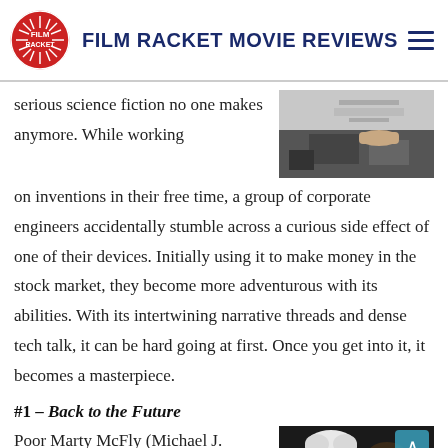Film Racket Movie Reviews
serious science fiction no one makes anymore. While working on inventions in their free time, a group of corporate engineers accidentally stumble across a curious side effect of one of their devices. Initially using it to make money in the stock market, they become more adventurous with its abilities. With its intertwining narrative threads and dense tech talk, it can be hard going at first. Once you get into it, it becomes a masterpiece.
[Figure (photo): Dark close-up photo showing hands working with equipment/machinery]
#1 – Back to the Future
Poor Marty McFly (Michael J.
[Figure (photo): Two people in dim lighting, one with wild white hair resembling Doc Brown and another character, likely from Back to the Future]